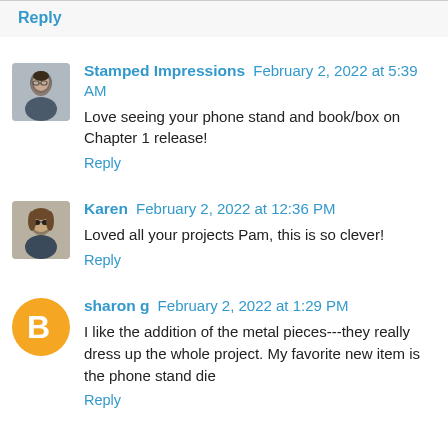Reply
Stamped Impressions  February 2, 2022 at 5:39 AM
Love seeing your phone stand and book/box on Chapter 1 release!
Reply
Karen  February 2, 2022 at 12:36 PM
Loved all your projects Pam, this is so clever!
Reply
sharon g  February 2, 2022 at 1:29 PM
I like the addition of the metal pieces---they really dress up the whole project. My favorite new item is the phone stand die
Reply